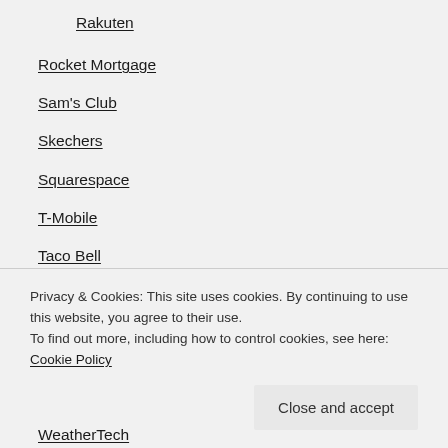Rakuten
Rocket Mortgage
Sam's Club
Skechers
Squarespace
T-Mobile
Taco Bell
Toyota
TurboTax
Turkish Airlines
Privacy & Cookies: This site uses cookies. By continuing to use this website, you agree to their use. To find out more, including how to control cookies, see here: Cookie Policy
WeatherTech